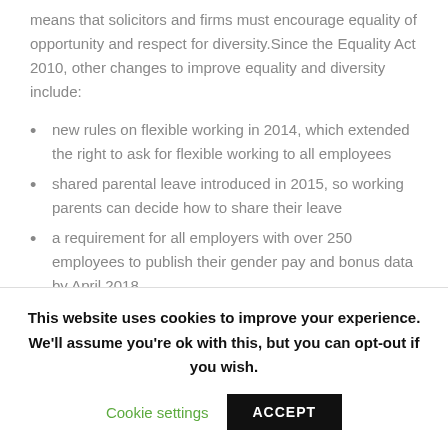means that solicitors and firms must encourage equality of opportunity and respect for diversity. Since the Equality Act 2010, other changes to improve equality and diversity include:
new rules on flexible working in 2014, which extended the right to ask for flexible working to all employees
shared parental leave introduced in 2015, so working parents can decide how to share their leave
a requirement for all employers with over 250 employees to publish their gender pay and bonus data by April 2018
This website uses cookies to improve your experience. We'll assume you're ok with this, but you can opt-out if you wish.
Cookie settings | ACCEPT